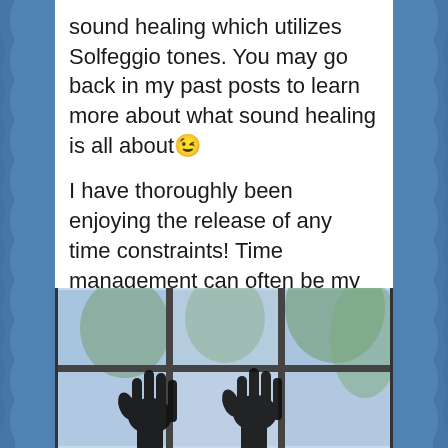sound healing which utilizes Solfeggio tones. You may go back in my past posts to learn more about what sound healing is all about😉
I have thoroughly been enjoying the release of any time constraints! Time management can often be my nemesis my dear readers. Without those limits I feel free as a bird and today I was able to practice a lot of self care out on the patio which overlooks the lake. The energy I feel when I'm by the water is so invigorating and drove my passion for yoga today. It felt so peaceful, stable and reassuring.
[Figure (photo): Silhouettes of two hands raised against a window with window panes, with trees and blue sky visible outside]